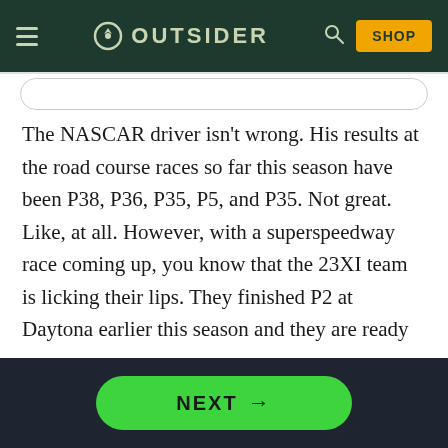OUTSIDER
The NASCAR driver isn't wrong. His results at the road course races so far this season have been P38, P36, P35, P5, and P35. Not great. Like, at all. However, with a superspeedway race coming up, you know that the 23XI team is licking their lips. They finished P2 at Daytona earlier this season and they are ready to punch a surprise ticket into the postseason with a win next Sunday.
NEXT →